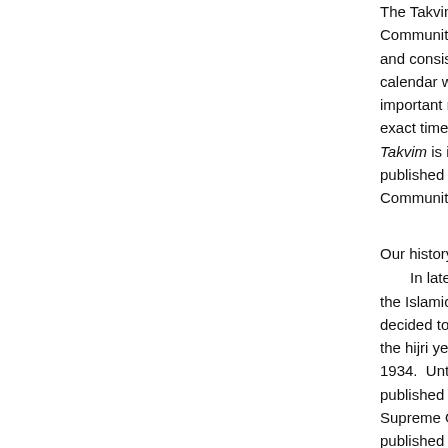The Takvim is the official calendar of the Islamic Community in Bosnia and Herzegovina and consists of a monthly calendar with all the important religious dates and exact times of the prayers. Takvim is issued and published by the Islamic Community.
Our history
In late 1933, the Islamic Community decided to issue a Takvim for the hijri year 1352 / 1933-1934. Until 194... published by the Supreme Office. published in thro...